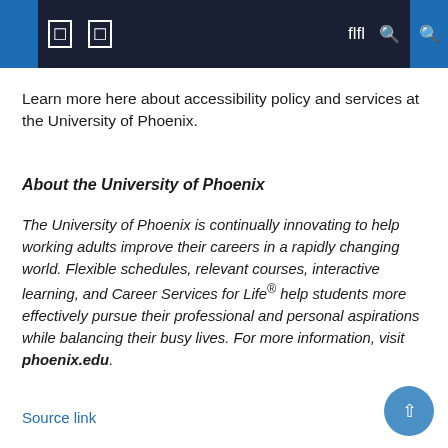University of Phoenix navigation header
Learn more here about accessibility policy and services at the University of Phoenix.
About the University of Phoenix
The University of Phoenix is continually innovating to help working adults improve their careers in a rapidly changing world. Flexible schedules, relevant courses, interactive learning, and Career Services for Life® help students more effectively pursue their professional and personal aspirations while balancing their busy lives. For more information, visit phoenix.edu.
Source link